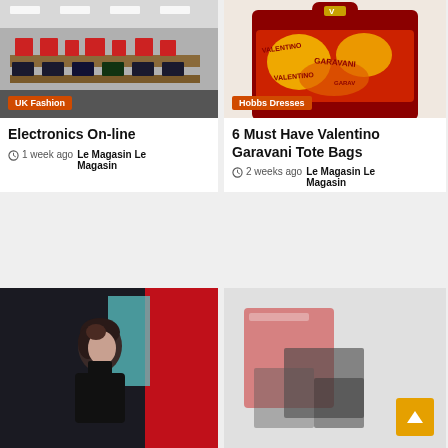[Figure (photo): Interior of an electronics store with shelves and display counters]
UK Fashion
Electronics On-line
1 week ago  Le Magasin Le Magasin
[Figure (photo): Valentino Garavani tote bag with red and orange graphic print]
Hobbs Dresses
6 Must Have Valentino Garavani Tote Bags
2 weeks ago  Le Magasin Le Magasin
[Figure (photo): Woman in dark clothing with a red panel background]
[Figure (photo): Blurred magazine or screen with orange scroll-to-top button overlay]